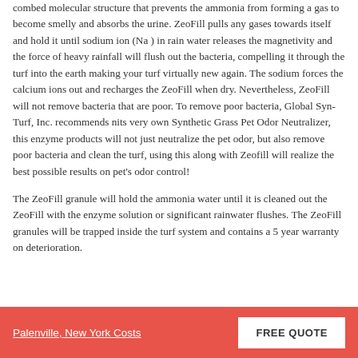combed molecular structure that prevents the ammonia from forming a gas to become smelly and absorbs the urine. ZeoFill pulls any gases towards itself and hold it until sodium ion (Na ) in rain water releases the magnetivity and the force of heavy rainfall will flush out the bacteria, compelling it through the turf into the earth making your turf virtually new again. The sodium forces the calcium ions out and recharges the ZeoFill when dry. Nevertheless, ZeoFill will not remove bacteria that are poor. To remove poor bacteria, Global Syn-Turf, Inc. recommends nits very own Synthetic Grass Pet Odor Neutralizer, this enzyme products will not just neutralize the pet odor, but also remove poor bacteria and clean the turf, using this along with Zeofill will realize the best possible results on pet's odor control!
The ZeoFill granule will hold the ammonia water until it is cleaned out the ZeoFill with the enzyme solution or significant rainwater flushes. The ZeoFill granules will be trapped inside the turf system and contains a 5 year warranty on deterioration.
Palenville, New York Costs   FREE QUOTE